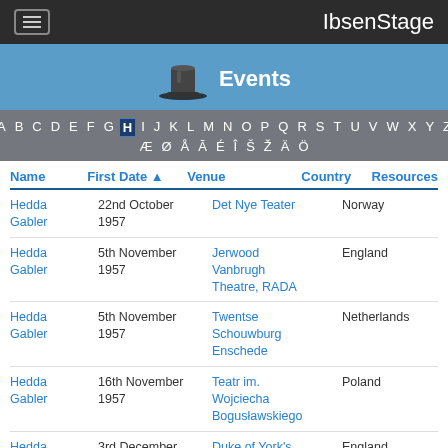IbsenStage
[Figure (other): IbsenStage events banner with top hat icon and 'Events' label on blue background]
A B C D E F G H I J K L M N O P Q R S T U V W X Y Z Æ Ø Å Ā É Î Š Ž Ä Ö
| Name | First Date ▲ | Venue | Country | Resources |
| --- | --- | --- | --- | --- |
| Hedda Gabler | 22nd October 1957 | Det Nye Teater | Norway |  |
| Hedda Gabler | 5th November 1957 | Jerwood Vanbrugh Theatre, RADA | England |  |
| Hedda Gabler | 5th November 1957 | Twentse Schouwburg Enschede | Netherlands |  |
| Hedda Gabler | 16th November 1957 | Teatr im. Wojciecha Bogusławskiego | Poland |  |
| Hedda Gabler | 3rd December 1957 | Duke of York's Theatre | England |  |
| Hedda Gabler | 3rd December 1957 | Centraal Theater | Netherlands |  |